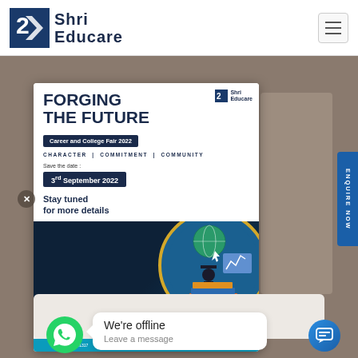Shri Educare
[Figure (illustration): Shri Educare promotional flyer for Career and College Fair 2022 titled 'Forging the Future' with date 3rd September 2022]
ABOUT SHRI EDUCARE
We're offline
Leave a message